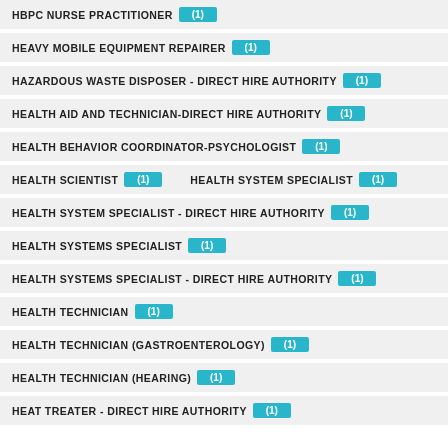HBPC NURSE PRACTITIONER (1)
HEAVY MOBILE EQUIPMENT REPAIRER (1)
HAZARDOUS WASTE DISPOSER - DIRECT HIRE AUTHORITY (1)
HEALTH AID AND TECHNICIAN-DIRECT HIRE AUTHORITY (1)
HEALTH BEHAVIOR COORDINATOR-PSYCHOLOGIST (1)
HEALTH SCIENTIST (1)  HEALTH SYSTEM SPECIALIST (1)
HEALTH SYSTEM SPECIALIST - DIRECT HIRE AUTHORITY (1)
HEALTH SYSTEMS SPECIALIST (1)
HEALTH SYSTEMS SPECIALIST - DIRECT HIRE AUTHORITY (1)
HEALTH TECHNICIAN (1)
HEALTH TECHNICIAN (GASTROENTEROLOGY) (1)
HEALTH TECHNICIAN (HEARING) (1)
HEAT TREATER - DIRECT HIRE AUTHORITY (1)